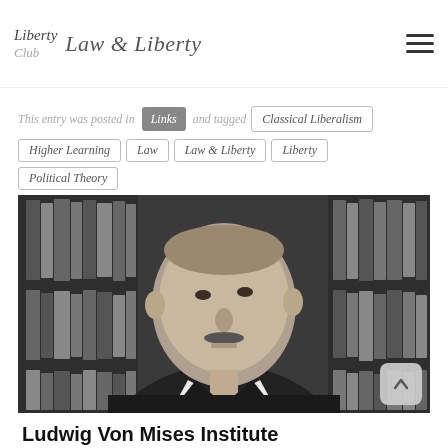Law & Liberty
This entry was posted in Links and tagged Classical Liberalism, Higher Learning, Law, Law & Liberty, Liberty, Political Theory
[Figure (photo): Black and white photograph of Ludwig Von Mises standing in front of a bookshelf filled with books, wearing a dark suit and tie]
Ludwig Von Mises Institute